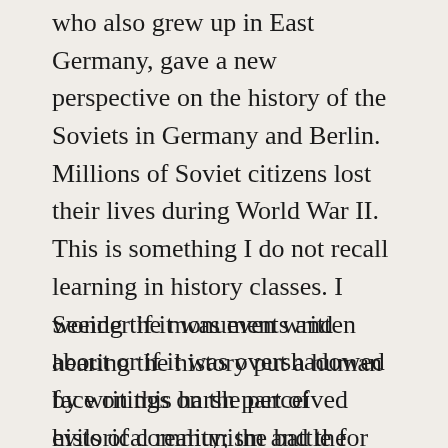who also grew up in East Germany, gave a new perspective on the history of the Soviets in Germany and Berlin. Millions of Soviet citizens lost their lives during World War II. This is something I do not recall learning in history classes. I wonder if it was even written about or if it was overshadowed by writings on the perceived evils of communism and the Soviet system.
Seeing the monuments and hearing the history put a human face on this harsh part of historical reality; the battle for Soviet sovereignty and fight against the